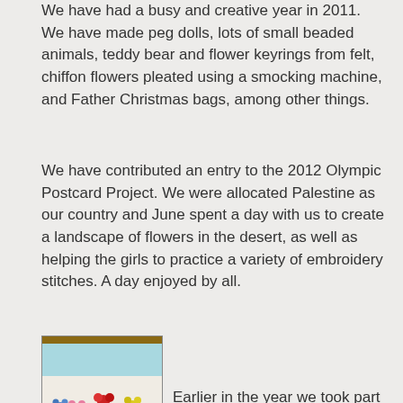We have had a busy and creative year in 2011. We have made peg dolls, lots of small beaded animals, teddy bear and flower keyrings from felt, chiffon flowers pleated using a smocking machine, and Father Christmas bags, among other things.
We have contributed an entry to the 2012 Olympic Postcard Project. We were allocated Palestine as our country and June spent a day with us to create a landscape of flowers in the desert, as well as helping the girls to practice a variety of embroidery stitches. A day enjoyed by all.
[Figure (photo): Photo of an embroidered textile with colorful flowers (red, blue, pink, yellow) on a light background, with a wooden or brown frame at top, sky blue section above flowers.]
Earlier in the year we took part in an